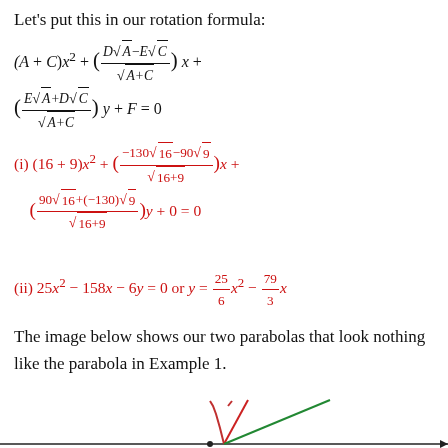Let's put this in our rotation formula:
The image below shows our two parabolas that look nothing like the parabola in Example 1.
[Figure (continuous-plot): Graph showing two parabola curves (one red, one green) on a coordinate plane, appearing nearly linear/steep in the visible window.]